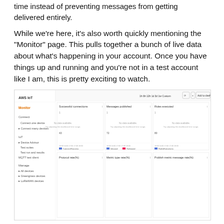time instead of preventing messages from getting delivered entirely.
While we're here, it's also worth quickly mentioning the "Monitor" page. This pulls together a bunch of live data about what's happening in your account. Once you have things up and running and you're not in a test account like I am, this is pretty exciting to watch.
[Figure (screenshot): AWS IoT Monitor dashboard screenshot showing panels for Successful connections, Messages published, Rules executed, Protocol rate(%), Metric type rate(%), and Publish metric message rate(%)]
AWS IoT Monitoring Dashboard
Let's set something up...